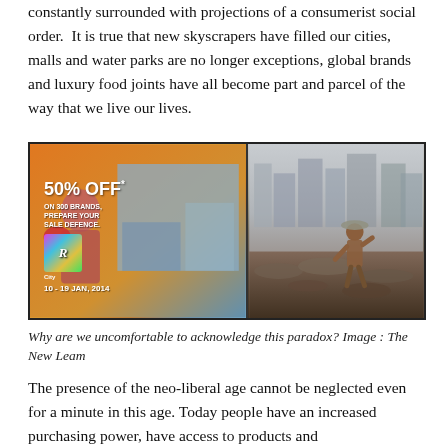constantly surrounded with projections of a consumerist social order.  It is true that new skyscrapers have filled our cities, malls and water parks are no longer exceptions, global brands and luxury food joints have all become part and parcel of the way that we live our lives.
[Figure (photo): Two side-by-side images: left shows a shopping mall advertisement billboard with '50% OFF on 300 Brands, Prepare Your Sale Defence' with a woman in boxing gloves, a Bollywood movie poster 'London Abi Kal', and a mall building; right shows a young child walking on a garbage dump with high-rise buildings in the background.]
Why are we uncomfortable to acknowledge this paradox? Image : The New Leam
The presence of the neo-liberal age cannot be neglected even for a minute in this age. Today people have an increased purchasing power, have access to products and